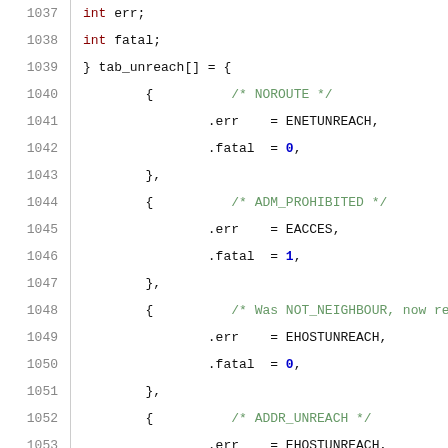[Figure (screenshot): Source code listing in C showing lines 1037-1063, defining a tab_unreach[] array with struct entries for network error codes (NOROUTE, ADM_PROHIBITED, NOT_NEIGHBOUR, ADDR_UNREACH, PORT_UNREACH, POLICY_FAIL), each with .err and .fatal fields.]